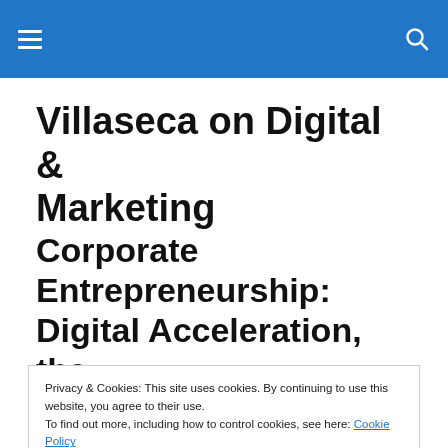Villaseca on Digital & Marketing
Corporate Entrepreneurship: Digital Acceleration, the Silicon Valley Way
Privacy & Cookies: This site uses cookies. By continuing to use this website, you agree to their use.
To find out more, including how to control cookies, see here: Cookie Policy
Silicon Valley, the challenge is: what can established